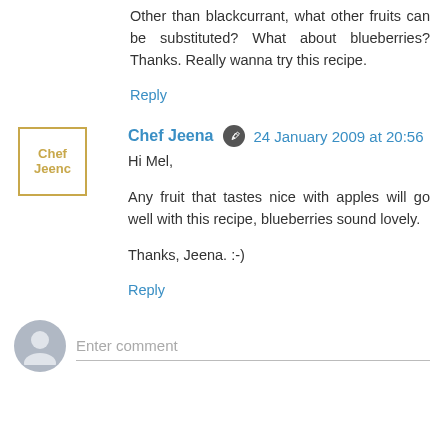Other than blackcurrant, what other fruits can be substituted? What about blueberries? Thanks. Really wanna try this recipe.
Reply
Chef Jeena  24 January 2009 at 20:56
Hi Mel,
Any fruit that tastes nice with apples will go well with this recipe, blueberries sound lovely.
Thanks, Jeena. :-)
Reply
Enter comment